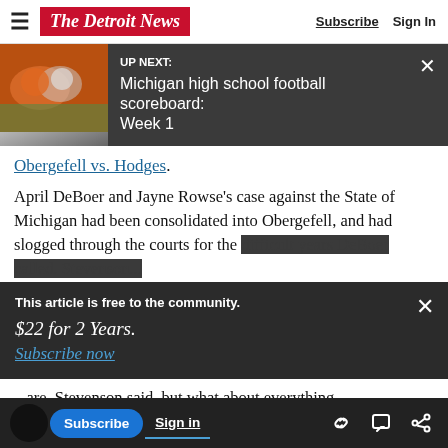The Detroit News — Subscribe  Sign In
[Figure (screenshot): UP NEXT banner with football image on left. Text reads: UP NEXT: Michigan high school football scoreboard: Week 1. Dark background with X close button.]
Obergefell vs. Hodges.
April DeBoer and Jayne Rowse's case against the State of Michigan had been consolidated into Obergefell, and had slogged through the courts for the difficult years DeBoer called. Stevenson...
[Figure (screenshot): Subscription overlay: 'This article is free to the community.' '$22 for 2 Years.' 'Subscribe now' link. Dark background. X close button.]
...are, Stevenson said, but what about everything
[Figure (screenshot): Bottom navigation bar with circle avatar, Subscribe button (blue), Sign in text, and icons for link, comment, and share.]
“Jan,” said DeBoer, “I have five kids. I don’t know